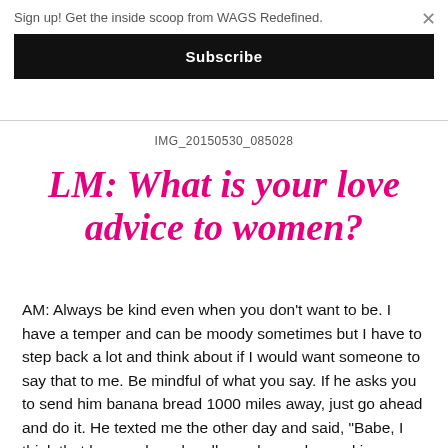Sign up! Get the inside scoop from WAGS Redefined.
Subscribe
IMG_20150530_085028
LM: What is your love advice to women?
AM: Always be kind even when you don't want to be. I have a temper and can be moody sometimes but I have to step back a lot and think about if I would want someone to say that to me. Be mindful of what you say. If he asks you to send him banana bread 1000 miles away, just go ahead and do it. He texted me the other day and said, "Babe, I think that banana bread really made me do good in practice. You gotta send me some